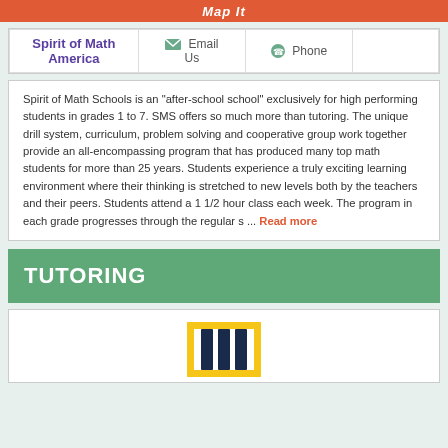Map It
| Spirit of Math America | Email Us | Phone |  |
| --- | --- | --- | --- |
Spirit of Math Schools is an "after-school school" exclusively for high performing students in grades 1 to 7. SMS offers so much more than tutoring. The unique drill system, curriculum, problem solving and cooperative group work together provide an all-encompassing program that has produced many top math students for more than 25 years. Students experience a truly exciting learning environment where their thinking is stretched to new levels both by the teachers and their peers. Students attend a 1 1/2 hour class each week. The program in each grade progresses through the regular s ... Read more
TUTORING
[Figure (logo): Building/institution logo with yellow and dark navy columns]